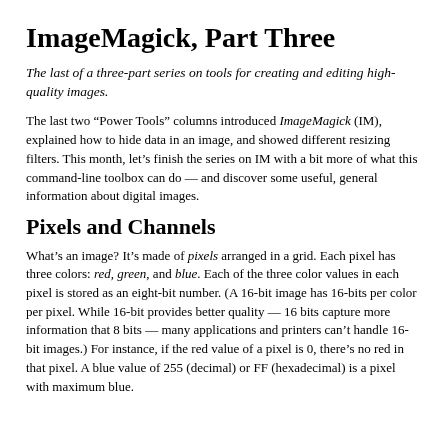ImageMagick, Part Three
The last of a three-part series on tools for creating and editing high-quality images.
The last two “Power Tools” columns introduced ImageMagick (IM), explained how to hide data in an image, and showed different resizing filters. This month, let’s finish the series on IM with a bit more of what this command-line toolbox can do — and discover some useful, general information about digital images.
Pixels and Channels
What’s an image? It’s made of pixels arranged in a grid. Each pixel has three colors: red, green, and blue. Each of the three color values in each pixel is stored as an eight-bit number. (A 16-bit image has 16-bits per color per pixel. While 16-bit provides better quality — 16 bits capture more information that 8 bits — many applications and printers can’t handle 16-bit images.) For instance, if the red value of a pixel is 0, there’s no red in that pixel. A blue value of 255 (decimal) or FF (hexadecimal) is a pixel with maximum blue.